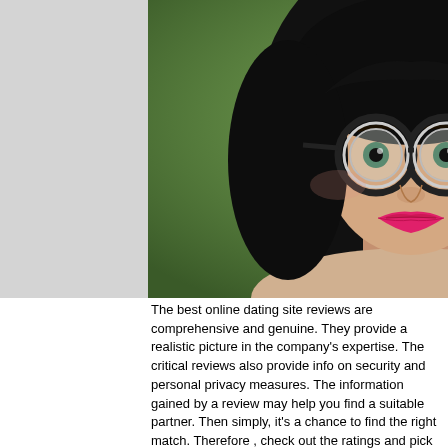[Figure (photo): Portrait photo of a young woman with long black curly hair, wearing large round thick-framed glasses and bright pink lipstick, looking directly at the camera against a blurred green background.]
The best online dating site reviews are comprehensive and genuine. They provide a realistic picture in the company's expertise. The critical reviews also provide info on security and personal privacy measures. The information gained by a review may help you find a suitable partner. Then simply, it's a chance to find the right match. Therefore , check out the ratings and pick the best one to meet your needs. Don't wait. Get started today! Using Online Dating Web page Reviews
Online dating site critical reviews are a great way to find the best date. You may check out the different